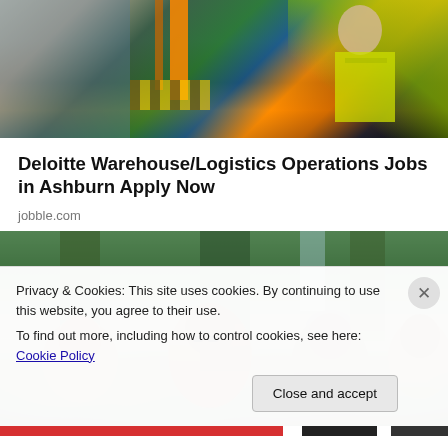[Figure (photo): Warehouse/logistics scene with forklift and worker in yellow safety vest holding clipboard]
Deloitte Warehouse/Logistics Operations Jobs in Ashburn Apply Now
jobble.com
[Figure (photo): Group of smiling people outdoors in a forested area with waterfall in background]
Privacy & Cookies: This site uses cookies. By continuing to use this website, you agree to their use.
To find out more, including how to control cookies, see here: Cookie Policy
Close and accept